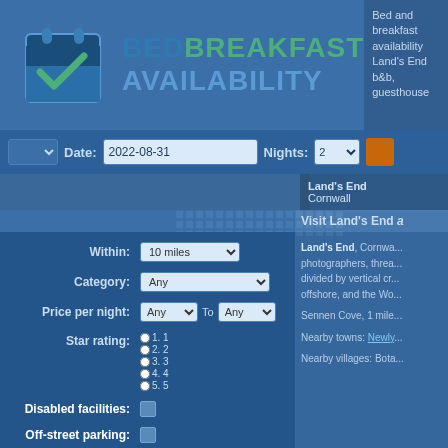[Figure (logo): BedBreakfast Availability logo with calendar icon and checkmark]
Bed and breakfast availability Land's End b&b, guesthouse
Date: 2022-08-31  Nights: 2
Land's End Cornwall
Visit Land's End a
Within: 10 miles
Category: Any
Price per night: Any To Any
Star rating: 1. 1  2. 2  3. 3  4. 4  5. 5
Disabled facilities:
Off-street parking:
Wi-Fi in rooms:
Dogs welcome:
Land's End, Cornwall... photographers, thread... divided by vertical cre... offshore, and the Wol...
Sennen Cove, 1 mile...
Nearby towns: Newly...
Nearby villages: Bota...